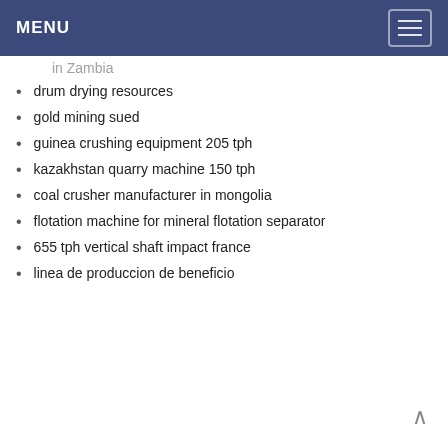MENU
in Zambia
drum drying resources
gold mining sued
guinea crushing equipment 205 tph
kazakhstan quarry machine 150 tph
coal crusher manufacturer in mongolia
flotation machine for mineral flotation separator
655 tph vertical shaft impact france
linea de produccion de beneficio